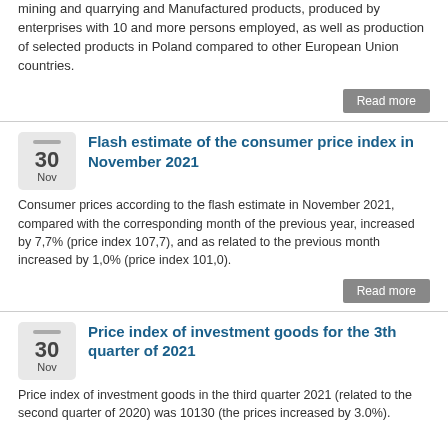mining and quarrying and Manufactured products, produced by enterprises with 10 and more persons employed, as well as production of selected products in Poland compared to other European Union countries.
Read more
Flash estimate of the consumer price index in November 2021
Consumer prices according to the flash estimate in November 2021, compared with the corresponding month of the previous year, increased by 7,7% (price index 107,7), and as related to the previous month increased by 1,0% (price index 101,0).
Read more
Price index of investment goods for the 3th quarter of 2021
Price index of investment goods in the third quarter 2021 (related to the second quarter of 2020) was 10130 (the prices increased by 3.0%).